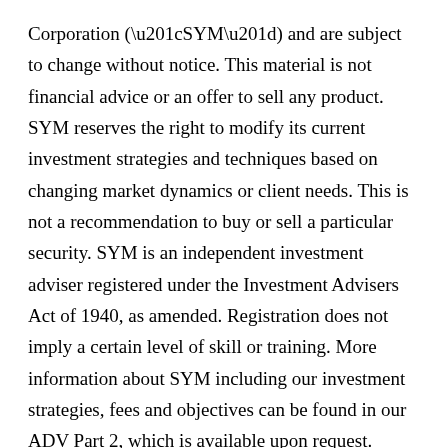Corporation (“SYM”) and are subject to change without notice. This material is not financial advice or an offer to sell any product. SYM reserves the right to modify its current investment strategies and techniques based on changing market dynamics or client needs. This is not a recommendation to buy or sell a particular security. SYM is an independent investment adviser registered under the Investment Advisers Act of 1940, as amended. Registration does not imply a certain level of skill or training. More information about SYM including our investment strategies, fees and objectives can be found in our ADV Part 2, which is available upon request. SYM-20-67.